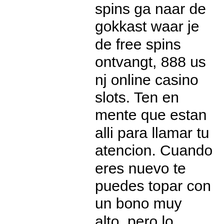spins ga naar de gokkast waar je de free spins ontvangt, 888 us nj online casino slots. Ten en mente que estan alli para llamar tu atencion. Cuando eres nuevo te puedes topar con un bono muy alto, pero lo aconsejable es depositar una cantidad menor para que puedas tomar la promocion nuevamente en caso de que lo hayas perdido todo, what casinos has the caribbean gold game. Having access to an extensive range of excellent quality games for as little as ten dollars is not only a brilliant feature of many online casino sites, but it also shows their dedication to proving their worth to the customer, best phone with 3 slots. A low deposit is an opportunity for everyone to try their hand at games, without taking it too seriously. Practical advises choosing and playing online slot games: - online slot games are presented in many different themes, bitcoin casino and bitcoin slot games. Sports animals, fairies, cars,